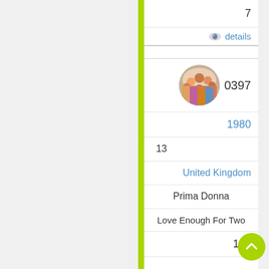7
details
[Figure (photo): Circular thumbnail photo of a music group/band with multiple people]
0397
1980
13
United Kingdom
Prima Donna
Love Enough For Two
106